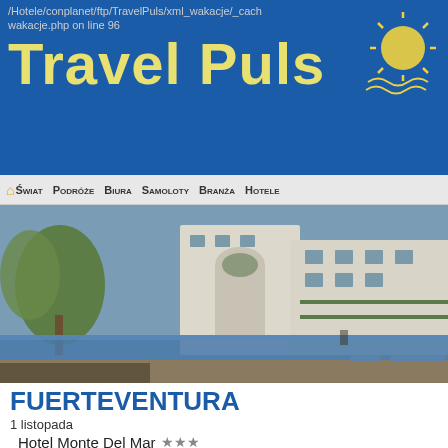/Hotele/conplanet/ftp/TravelPuls/xml_wakacje/_cache/wakacje.php on line 96
Travel Puls
Świat Podróże Biura Samoloty Branża Hotele
[Figure (photo): Hotel swimming pool with white Mediterranean-style buildings, palm trees and sun loungers]
FUERTEVENTURA
1 listopada
Hotel Monte Del Mar ★★★
bez wyżywienia   1 679 zł/tydz.
Warning: simplexml_load_file(http://rezerwacje.wakacjnyczas. category=last-